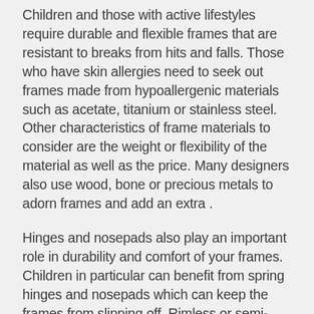Children and those with active lifestyles require durable and flexible frames that are resistant to breaks from hits and falls. Those who have skin allergies need to seek out frames made from hypoallergenic materials such as acetate, titanium or stainless steel. Other characteristics of frame materials to consider are the weight or flexibility of the material as well as the price. Many designers also use wood, bone or precious metals to adorn frames and add an extra .
Hinges and nosepads also play an important role in durability and comfort of your frames. Children in particular can benefit from spring hinges and nosepads which can keep the frames from slipping off. Rimless or semi-rimless glasses are also an option for those that durability is not a primary concern.